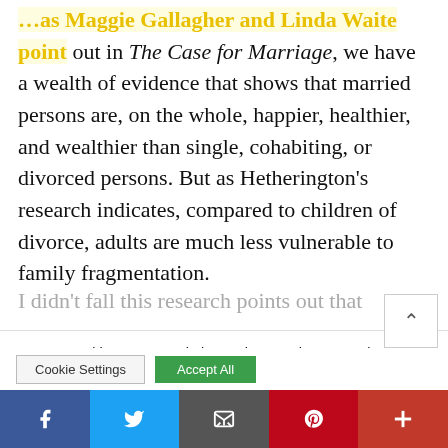…as Maggie Gallagher and Linda Waite point out in The Case for Marriage, we have a wealth of evidence that shows that married persons are, on the whole, happier, healthier, and wealthier than single, cohabiting, or divorced persons. But as Hetherington's research indicates, compared to children of divorce, adults are much less vulnerable to family fragmentation.
I didn't fall this…
We use cookies on our website to give you the most relevant experience by remembering your preferences and repeat visits. By clicking "Accept All", you consent to the use of ALL the cookies. However, you may visit "Cookie Settings" to provide a controlled consent.
[Figure (other): Social sharing bar at bottom with Facebook, Twitter, Email, Pinterest, and More buttons]